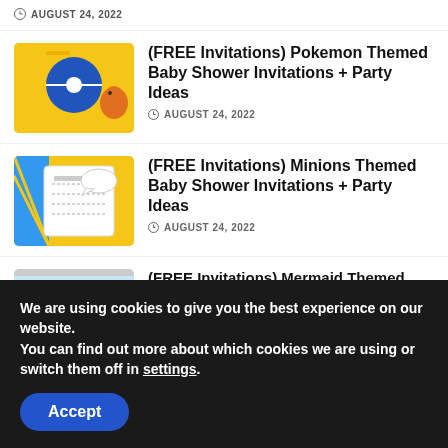AUGUST 24, 2022
(FREE Invitations) Pokemon Themed Baby Shower Invitations + Party Ideas
AUGUST 24, 2022
[Figure (illustration): Pokemon themed baby shower invitation thumbnail with blue circle and orange character on yellow background]
(FREE Invitations) Minions Themed Baby Shower Invitations + Party Ideas
AUGUST 24, 2022
[Figure (illustration): Minions themed baby shower invitation thumbnail with white invitation card on yellow and blue background]
(FREE Invitations) Mermaid Themed Baby Shower Invitations + Party Ideas
AUGUST 24, 2022
[Figure (illustration): Mermaid themed baby shower invitation thumbnail with cute round character and purple/blue mermaid elements]
We are using cookies to give you the best experience on our website.
You can find out more about which cookies we are using or switch them off in settings.
Accept